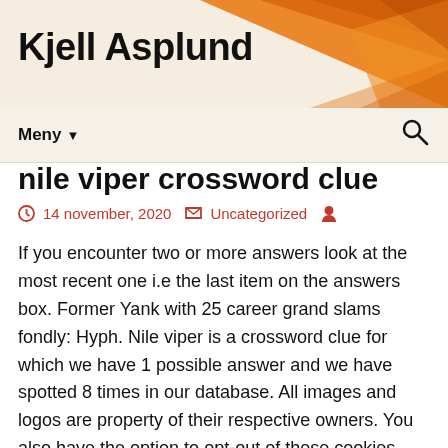Kjell Asplund
nile viper crossword clue
14 november, 2020   Uncategorized
If you encounter two or more answers look at the most recent one i.e the last item on the answers box. Former Yank with 25 career grand slams fondly: Hyph. Nile viper is a crossword clue for which we have 1 possible answer and we have spotted 8 times in our database. All images and logos are property of their respective owners. You also have the option to opt-out of these cookies. This website uses cookies to improve your experience. In case something is wrong or missing you are kindly requested to leave a message below and one of our staff members will be more